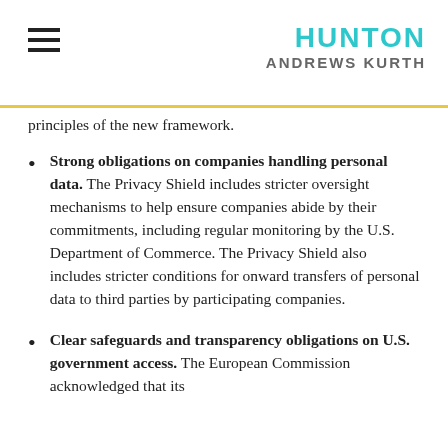HUNTON ANDREWS KURTH
principles of the new framework.
Strong obligations on companies handling personal data. The Privacy Shield includes stricter oversight mechanisms to help ensure companies abide by their commitments, including regular monitoring by the U.S. Department of Commerce. The Privacy Shield also includes stricter conditions for onward transfers of personal data to third parties by participating companies.
Clear safeguards and transparency obligations on U.S. government access. The European Commission acknowledged that its...